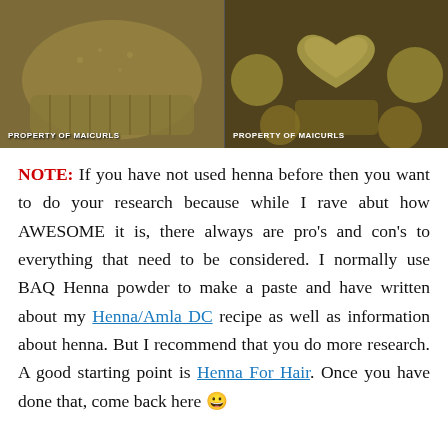[Figure (photo): Two side-by-side photos of henna paste shaped and frozen in cupcake/muffin molds. Left: close-up of a single mold with sandy-textured paste. Right: multiple heart-shaped and round molds with henna paste. Both labeled PROPERTY OF MAICURLS.]
NOTE: If you have not used henna before then you want to do your research because while I rave abut how AWESOME it is, there always are pro’s and con’s to everything that need to be considered. I normally use BAQ Henna powder to make a paste and have written about my Henna/Amla DC recipe as well as information about henna. But I recommend that you do more research. A good starting point is Henna For Hair. Once you have done that, come back here 😀